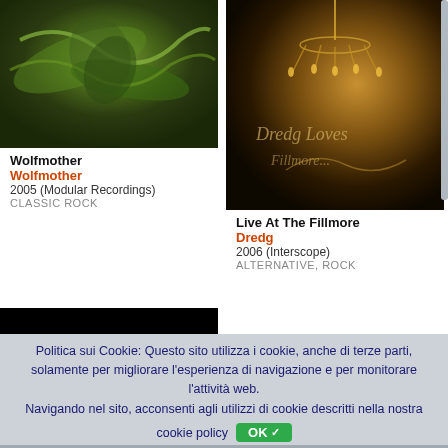[Figure (photo): Wolfmother album cover - dark green swirling nature imagery]
Wolfmother
Wolfmother
2005 (Modular Recordings)
CLASSIC ROCK
[Figure (photo): Dredg 'Live At The Fillmore' album cover - chandelier and cursive text on dark background]
Live At The Fillmore
Dredg
2006 (Interscope)
ALTERNATIVE, ROCK
[Figure (photo): Foghat Live album cover - black background with chrome LIVE text and band members]
[Figure (photo): Formatia album cover - illustrated with music sheet and colorful artwork]
Politica sui Cookie: Questo sito utilizza i cookie, anche di terze parti, solamente per migliorare l'esperienza di navigazione e per monitorare l'attività web.
Navigando nel sito, acconsenti agli utilizzi di cookie descritti nella nostra cookie policy  OK✓